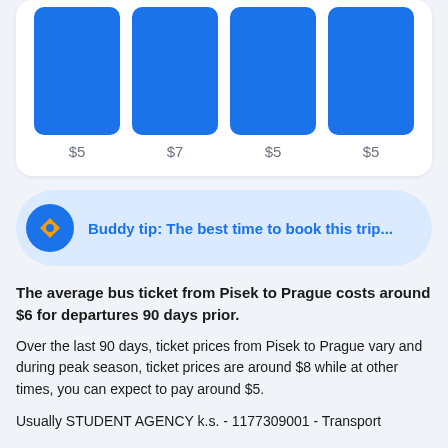[Figure (bar-chart): Bus ticket prices]
Buddy tip: The best time to book this trip...
The average bus ticket from Pisek to Prague costs around $6 for departures 90 days prior.
Over the last 90 days, ticket prices from Pisek to Prague vary and during peak season, ticket prices are around $8 while at other times, you can expect to pay around $5.
Usually STUDENT AGENCY k.s. - 1177309001 - Transport